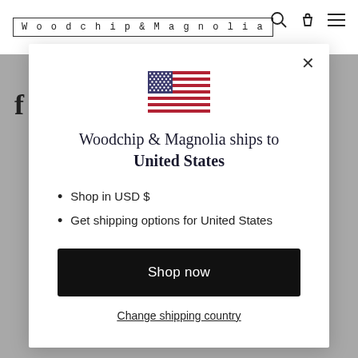Woodchip & Magnolia
[Figure (screenshot): Modal popup on Woodchip & Magnolia website showing US flag, shipping info, and shop now button]
Woodchip & Magnolia ships to United States
Shop in USD $
Get shipping options for United States
Shop now
Change shipping country
Nicholas A. Verified Buyer